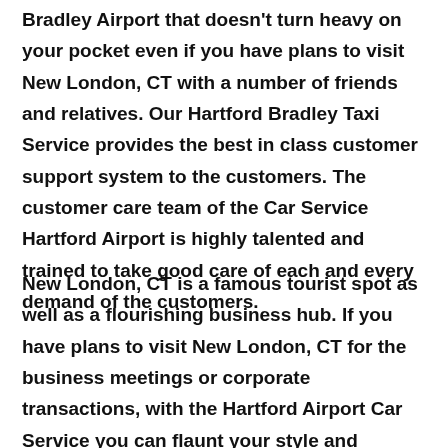Bradley Airport that doesn't turn heavy on your pocket even if you have plans to visit New London, CT with a number of friends and relatives. Our Hartford Bradley Taxi Service provides the best in class customer support system to the customers. The customer care team of the Car Service Hartford Airport is highly talented and trained to take good care of each and every demand of the customers.
New London, CT is a famous tourist spot as well as a flourishing business hub. If you have plans to visit New London, CT for the business meetings or corporate transactions, with the Hartford Airport Car Service you can flaunt your style and comfort among your clients. At the same time enjoy the luxury of the ultra-fine range of fleet with elite and